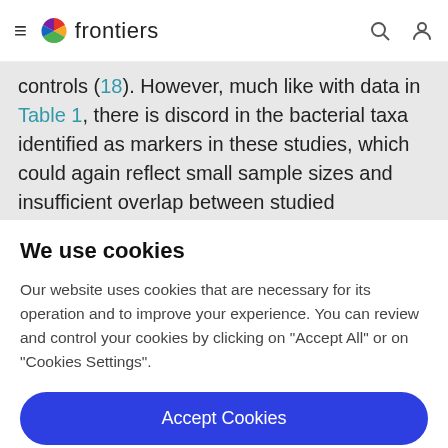frontiers
controls (18). However, much like with data in Table 1, there is discord in the bacterial taxa identified as markers in these studies, which could again reflect small sample sizes and insufficient overlap between studied populations. Furthermore, investigations of the gut
We use cookies
Our website uses cookies that are necessary for its operation and to improve your experience. You can review and control your cookies by clicking on "Accept All" or on "Cookies Settings".
Accept Cookies
Cookies Settings